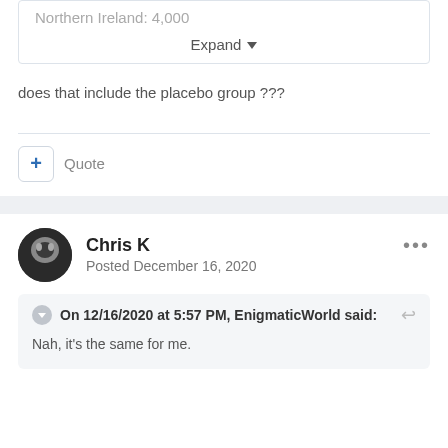Northern Ireland: 4,000
Expand
does that include the placebo group ???
Quote
Chris K
Posted December 16, 2020
On 12/16/2020 at 5:57 PM, EnigmaticWorld said:
Nah, it's the same for me.